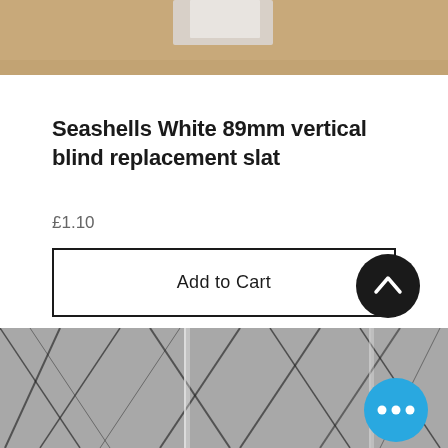[Figure (photo): Top portion of a product image showing a white vertical blind slat against a tan/beige background, partially cropped]
Seashells White 89mm vertical blind replacement slat
£1.10
Add to Cart
[Figure (photo): Bottom portion showing a grey patterned fabric/textile with geometric leaf or branch patterns in black and white, with a blue circular 'more options' button overlay]
[Figure (other): Black circular scroll-to-top button with white chevron/caret up arrow]